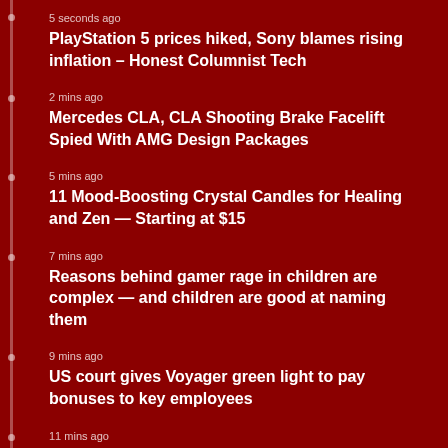5 seconds ago
PlayStation 5 prices hiked, Sony blames rising inflation – Honest Columnist Tech
2 mins ago
Mercedes CLA, CLA Shooting Brake Facelift Spied With AMG Design Packages
5 mins ago
11 Mood-Boosting Crystal Candles for Healing and Zen — Starting at $15
7 mins ago
Reasons behind gamer rage in children are complex — and children are good at naming them
9 mins ago
US court gives Voyager green light to pay bonuses to key employees
11 mins ago
Hedge funds build biggest bet against Italian debt since 2008